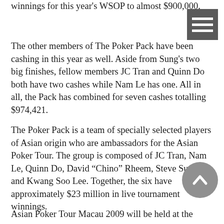winnings for this year's WSOP to almost $900,000.
The other members of The Poker Pack have been cashing in this year as well. Aside from Sung's two big finishes, fellow members JC Tran and Quinn Do both have two cashes while Nam Le has one. All in all, the Pack has combined for seven cashes totalling $974,421.
The Poker Pack is a team of specially selected players of Asian origin who are ambassadors for the Asian Poker Tour. The group is composed of JC Tran, Nam Le, Quinn Do, David "Chino" Rheem, Steve Sung, and Kwang Soo Lee. Together, the six have approximately $23 million in live tournament winnings.
Asian Poker Tour Macau 2009 will be held at the